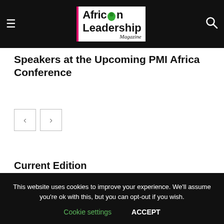African Leadership Magazine
Speakers at the Upcoming PMI Africa Conference
Current Edition
This website uses cookies to improve your experience. We'll assume you're ok with this, but you can opt-out if you wish.
Cookie settings   ACCEPT